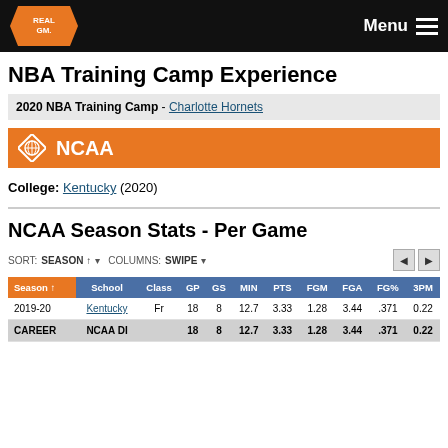RealGM - Menu
NBA Training Camp Experience
2020 NBA Training Camp - Charlotte Hornets
NCAA
College: Kentucky (2020)
NCAA Season Stats - Per Game
SORT: SEASON ↑ · COLUMNS: SWIPE
| Season ↑ | School | Class | GP | GS | MIN | PTS | FGM | FGA | FG% | 3PM |
| --- | --- | --- | --- | --- | --- | --- | --- | --- | --- | --- |
| 2019-20 | Kentucky | Fr | 18 | 8 | 12.7 | 3.33 | 1.28 | 3.44 | .371 | 0.22 |
| CAREER | NCAA DI |  | 18 | 8 | 12.7 | 3.33 | 1.28 | 3.44 | .371 | 0.22 |